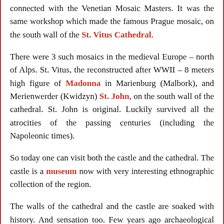connected with the Venetian Mosaic Masters. It was the same workshop which made the famous Prague mosaic, on the south wall of the St. Vitus Cathedral.
There were 3 such mosaics in the medieval Europe – north of Alps. St. Vitus, the reconstructed after WWII – 8 meters high figure of Madonna in Marienburg (Malbork), and Merienwerder (Kwidzyn) St. John, on the south wall of the cathedral. St. John is original. Luckily survived all the atrocities of the passing centuries (including the Napoleonic times).
So today one can visit both the castle and the cathedral. The castle is a museum now with very interesting ethnographic collection of the region.
The walls of the cathedral and the castle are soaked with history. And sensation too. Few years ago archaeological search for Dorota's tomb was carried out in the cathedral.